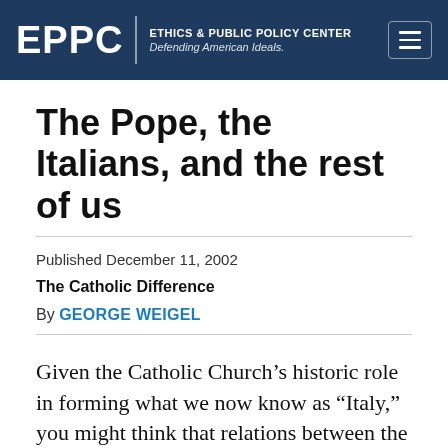EPPC | ETHICS & PUBLIC POLICY CENTER Defending American Ideals.
The Pope, the Italians, and the rest of us
Published December 11, 2002
The Catholic Difference
By GEORGE WEIGEL
Given the Catholic Church’s historic role in forming what we now know as “Italy,” you might think that relations between the Vatican and the Italian government had always run rather smoothly. If you thought that, however,